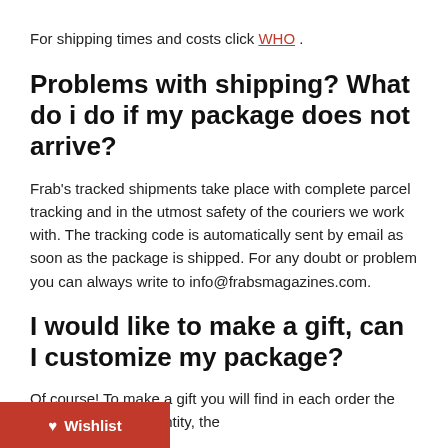For shipping times and costs click WHO .
Problems with shipping? What do i do if my package does not arrive?
Frab's tracked shipments take place with complete parcel tracking and in the utmost safety of the couriers we work with. The tracking code is automatically sent by email as soon as the package is shipped. For any doubt or problem you can always write to info@frabsmagazines.com.
I would like to make a gift, can I customize my package?
Of course! To make a gift you will find in each order the indication of the quantity, the
Wishlist